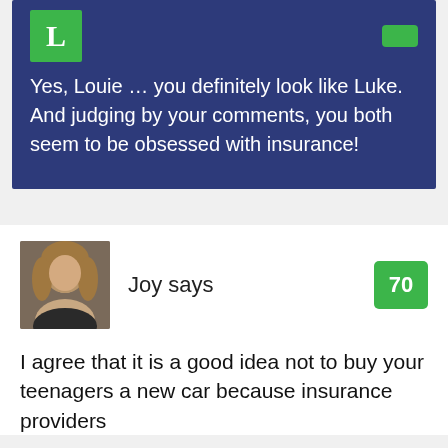Yes, Louie ... you definitely look like Luke. And judging by your comments, you both seem to be obsessed with insurance!
[Figure (photo): Woman with blonde hair, profile photo for commenter Joy]
Joy says
I agree that it is a good idea not to buy your teenagers a new car because insurance providers